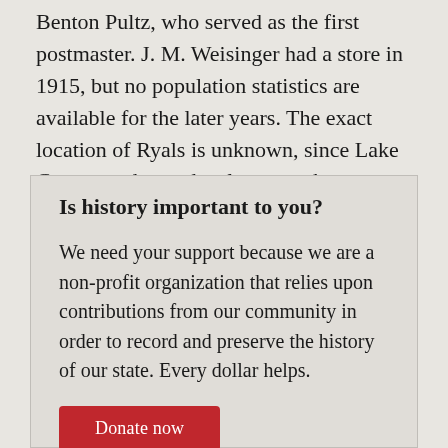Benton Pultz, who served as the first postmaster. J. M. Weisinger had a store in 1915, but no population statistics are available for the later years. The exact location of Ryals is unknown, since Lake Conroe and new developments have covered the area.
Is history important to you?
We need your support because we are a non-profit organization that relies upon contributions from our community in order to record and preserve the history of our state. Every dollar helps.